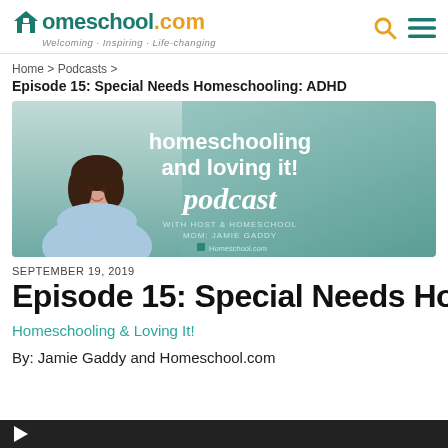Homeschool.com — Welcoming · Inspiring · Life-changing
Home > Podcasts >
Episode 15: Special Needs Homeschooling: ADHD
[Figure (illustration): Podcast banner image for 'Homeschooling and Loving It! podcast' with host and homeschool mom Jamie Gaddy, showing a woman with dark hair on a teal/mint background with white bold text overlay.]
SEPTEMBER 19, 2019
Episode 15: Special Needs Homeschooling: ADHD
Homeschooling & Loving It!
By: Jamie Gaddy and Homeschool.com